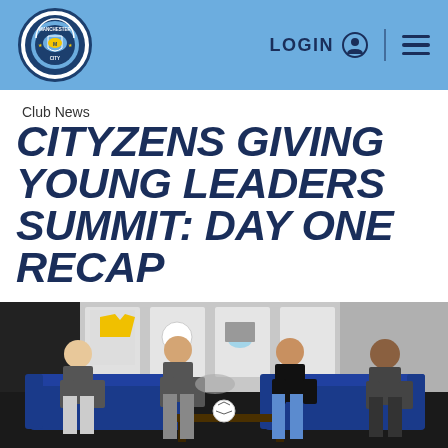Manchester City FC header with LOGIN and menu
Club News
CITYZENS GIVING YOUNG LEADERS SUMMIT: DAY ONE RECAP
[Figure (photo): Four people seated on blue sofas in a sports media room with jerseys displayed on the wall behind them. A white football sits on a coffee table in front.]